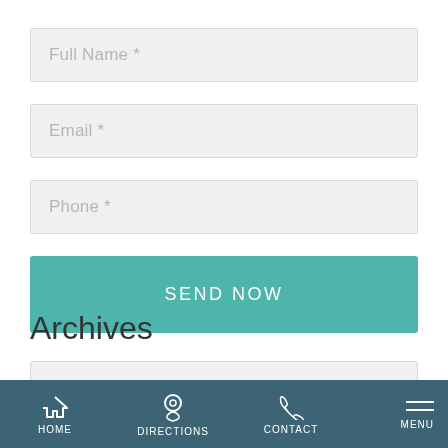Full Name *
Email *
Phone *
SEND NOW
Archives
Select Month
HOME  DIRECTIONS  CONTACT  MENU